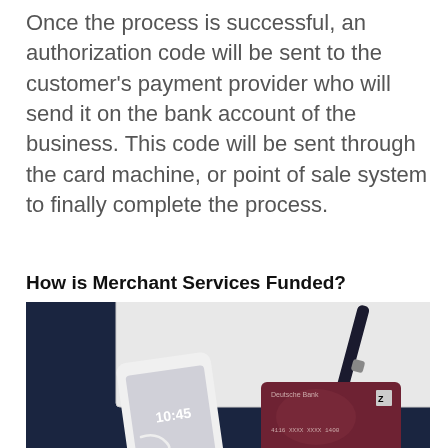Once the process is successful, an authorization code will be sent to the customer's payment provider who will send it on the bank account of the business. This code will be sent through the card machine, or point of sale system to finally complete the process.
How is Merchant Services Funded?
[Figure (photo): Dark navy background with a white notebook, a white smartphone with earphones tangled around it showing time 10:45, a dark red Deutsche Bank credit card with VISA logo, and a dark pen resting on the notebook.]